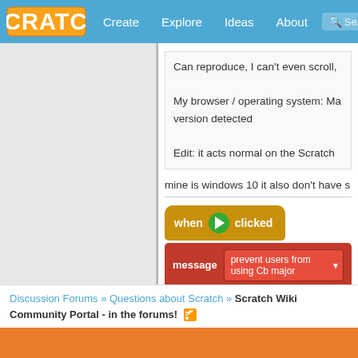Scratch — Create | Explore | Ideas | About
Can reproduce, I can't even scroll,
My browser / operating system: Ma version detected
Edit: it acts normal on the Scratch
mine is windows 10 it also don't have s
[Figure (screenshot): Scratch blocks: 'when [green flag] clicked' connected to 'message [prevent users from using Cb major]' with a diamond/reporter block below]
Discussion Forums » Questions about Scratch » Scratch Wiki Community Portal - in the forums!